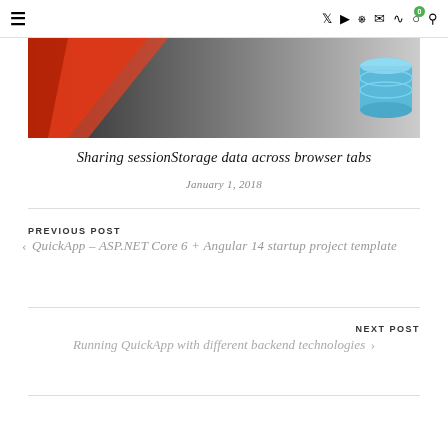≡  Twitter YouTube GitHub Email RSS Cart(0) Search
[Figure (illustration): Blog post hero image with red and grey angular shapes on the left and blue database cylinder icon on the right, against a dark to light gradient background.]
Sharing sessionStorage data across browser tabs
January 1, 2018
PREVIOUS POST
‹ QuickApp – ASP.NET Core 6 + Angular 14 startup project template
NEXT POST
Running QuickApp with different backend technologies ›